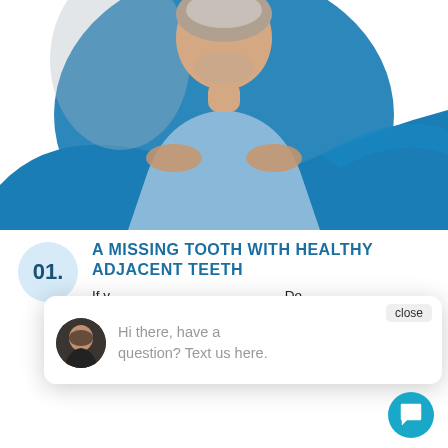[Figure (photo): Middle-aged man with grey hair and beard, wearing a light blue polo shirt, arms crossed, smiling. Set against a blue teardrop/wave shaped background graphic.]
01.
A MISSING TOOTH WITH HEALTHY ADJACENT TEETH
If you have a missing tooth, Dr. De... with... down the adjacent teeth. We offer single dental implants that look and feel completely natural.
[Figure (screenshot): Chat popup overlay with close button, avatar of a dark-haired man, and text: Hi there, have a question? Text us here. A teal chat icon button is shown at bottom right.]